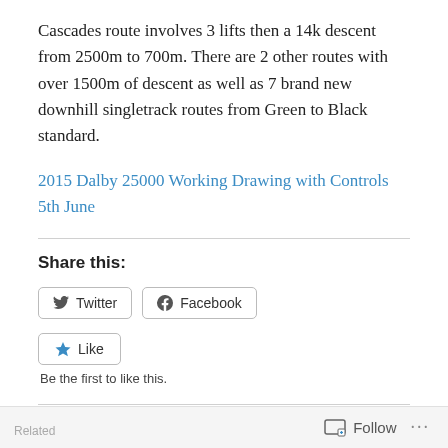Cascades route involves 3 lifts then a 14k descent from 2500m to 700m. There are 2 other routes with over 1500m of descent as well as 7 brand new downhill singletrack routes from Green to Black standard.
2015 Dalby 25000 Working Drawing with Controls 5th June
Share this:
Twitter
Facebook
Like
Be the first to like this.
Follow ...